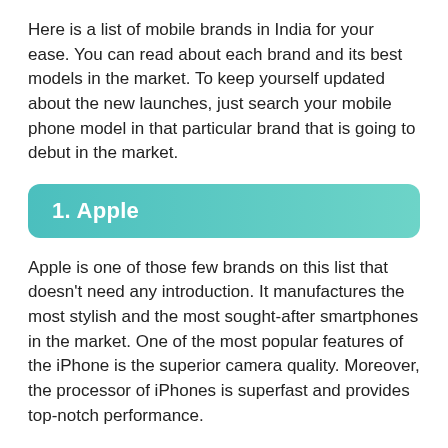Here is a list of mobile brands in India for your ease. You can read about each brand and its best models in the market. To keep yourself updated about the new launches, just search your mobile phone model in that particular brand that is going to debut in the market.
1. Apple
Apple is one of those few brands on this list that doesn't need any introduction. It manufactures the most stylish and the most sought-after smartphones in the market. One of the most popular features of the iPhone is the superior camera quality. Moreover, the processor of iPhones is superfast and provides top-notch performance.